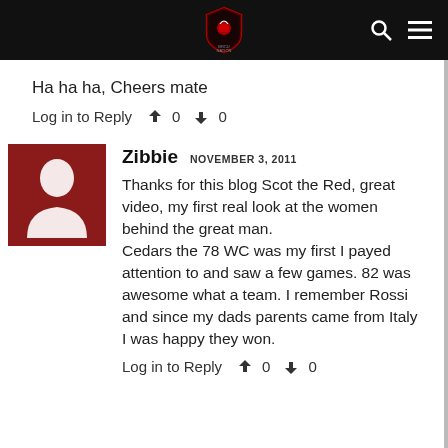BRCU NATION [logo and navigation bar]
Ha ha ha, Cheers mate
Log in to Reply  👍 0  👎 0
[Figure (illustration): Dark red avatar placeholder with white silhouette of a person]
Zibbie  NOVEMBER 3, 2011
Thanks for this blog Scot the Red, great video, my first real look at the women behind the great man.
Cedars the 78 WC was my first I payed attention to and saw a few games. 82 was awesome what a team. I remember Rossi and since my dads parents came from Italy I was happy they won.
Log in to Reply  👍 0  👎 0